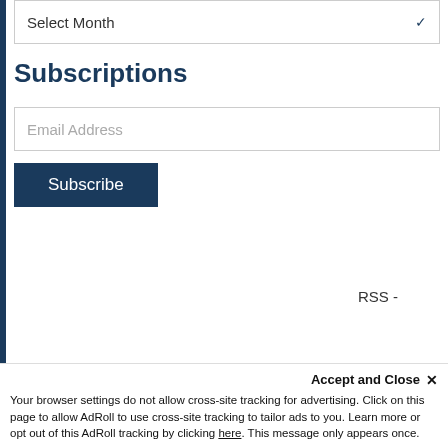Select Month
Subscriptions
Email Address
Subscribe
RSS -
Posts
Accept and Close ✕
Your browser settings do not allow cross-site tracking for advertising. Click on this page to allow AdRoll to use cross-site tracking to tailor ads to you. Learn more or opt out of this AdRoll tracking by clicking here. This message only appears once.